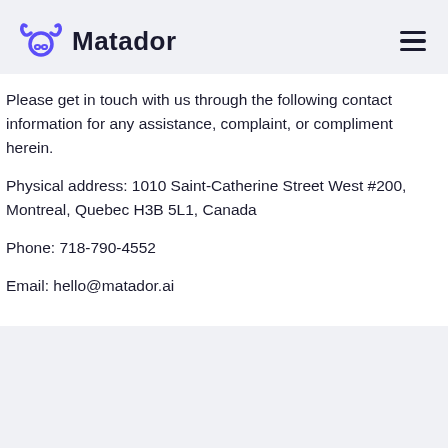[Figure (logo): Matador logo with purple bull horns icon and the word Matador in dark navy, plus a hamburger menu icon on the right]
Please get in touch with us through the following contact information for any assistance, complaint, or compliment herein.
Physical address: 1010 Saint-Catherine Street West #200, Montreal, Quebec H3B 5L1, Canada
Phone: 718-790-4552
Email: hello@matador.ai